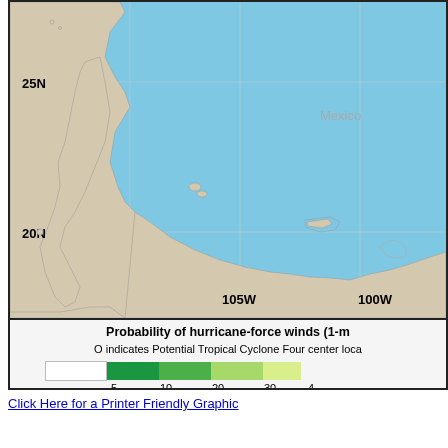[Figure (map): Meteorological map showing the Pacific Ocean coast of Mexico with latitude/longitude grid lines. Labels show 25N, 20N latitude lines and 105W, 100W longitude lines. Mexico land mass shown in tan/beige, ocean in blue. Small islands visible in the ocean.]
Probability of hurricane-force winds (1-m
O indicates Potential Tropical Cyclone Four center loca
[Figure (infographic): Color legend bar showing probability scale from 5 to 40+, with colors ranging from white through dark green, medium green, light green, to yellow.]
Click Here for a Printer Friendly Graphic